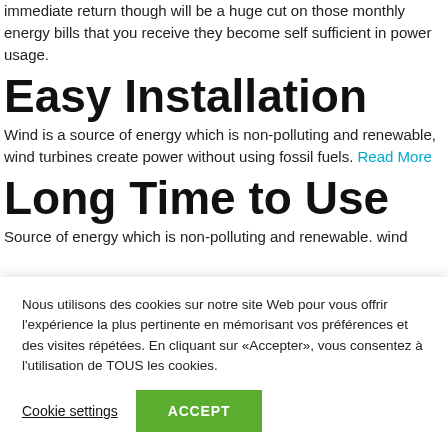immediate return though will be a huge cut on those monthly energy bills that you receive they become self sufficient in power usage.
Easy Installation
Wind is a source of energy which is non-polluting and renewable, wind turbines create power without using fossil fuels. Read More
Long Time to Use
Source of energy which is non-polluting and renewable. wind
Nous utilisons des cookies sur notre site Web pour vous offrir l'expérience la plus pertinente en mémorisant vos préférences et des visites répétées. En cliquant sur «Accepter», vous consentez à l'utilisation de TOUS les cookies.
Cookie settings
ACCEPT